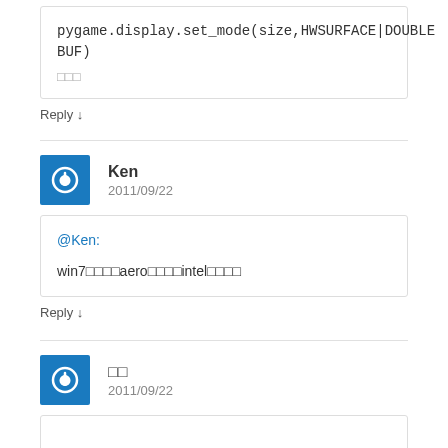pygame.display.set_mode(size,HWSURFACE|DOUBLEBUF)
□□□
Reply ↓
Ken
2011/09/22
@Ken:
win7□□□□aero□□□□intel□□□□
Reply ↓
□□
2011/09/22